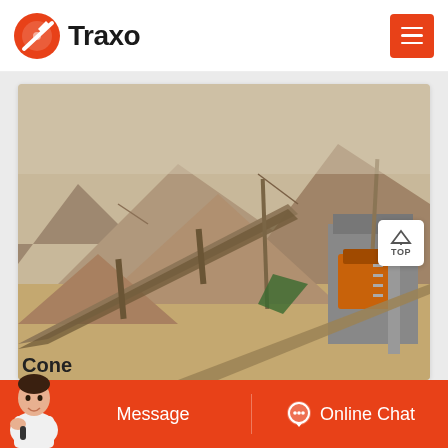[Figure (logo): Traxo company logo with orange circular icon and black bold text]
[Figure (photo): Mining/quarry site with conveyor belts, large piles of crushed stone/aggregate, and heavy machinery including an orange crusher, set against rocky mountain backdrop]
Cone
Message
Online Chat